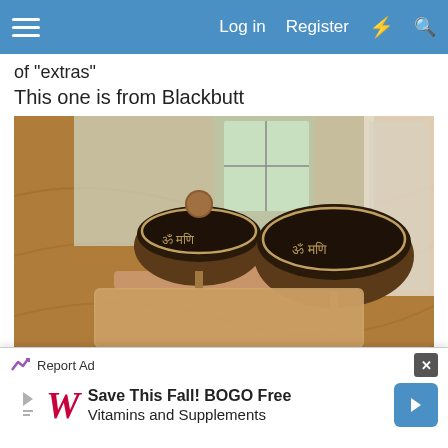Log in  Register
of "extras"
This one is from Blackbutt
[Figure (photo): Two Tibetan singing bowls with Sanskrit/Tibetan script engravings, mounted on a wooden base/stand on a wooden table surface. A small mallet is also visible on the base.]
[Figure (photo): Partial view of another photo below the main image, showing similar items.]
Report Ad
Save This Fall! BOGO Free Vitamins and Supplements